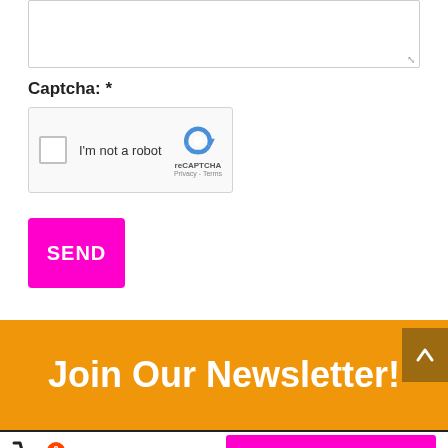[Figure (screenshot): A textarea input field (empty, with resize handle at bottom-right corner)]
Captcha: *
[Figure (screenshot): Google reCAPTCHA widget showing a checkbox, 'I'm not a robot' text, and the reCAPTCHA logo with Privacy and Terms links]
SEND
Join Our Newsletter!
Cart Total £0.00
GO TO CART